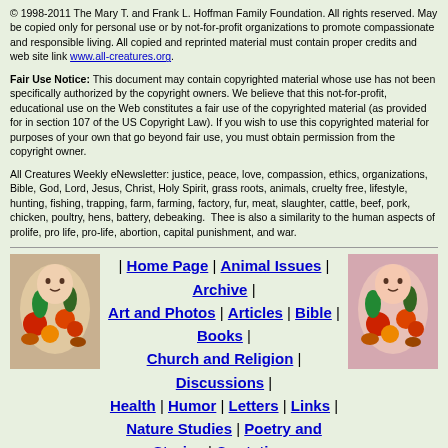© 1998-2011 The Mary T. and Frank L. Hoffman Family Foundation. All rights reserved. May be copied only for personal use or by not-for-profit organizations to promote compassionate and responsible living. All copied and reprinted material must contain proper credits and web site link www.all-creatures.org.
Fair Use Notice: This document may contain copyrighted material whose use has not been specifically authorized by the copyright owners. We believe that this not-for-profit, educational use on the Web constitutes a fair use of the copyrighted material (as provided for in section 107 of the US Copyright Law). If you wish to use this copyrighted material for purposes of your own that go beyond fair use, you must obtain permission from the copyright owner.
All Creatures Weekly eNewsletter: justice, peace, love, compassion, ethics, organizations, Bible, God, Lord, Jesus, Christ, Holy Spirit, grass roots, animals, cruelty free, lifestyle, hunting, fishing, trapping, farm, farming, factory, fur, meat, slaughter, cattle, beef, pork, chicken, poultry, hens, battery, debeaking. Thee is also a similarity to the human aspects of prolife, pro life, pro-life, abortion, capital punishment, and war.
[Figure (illustration): Decorative image of vegetables and fruits on left side of navigation]
| Home Page | Animal Issues | Archive | Art and Photos | Articles | Bible | Books | Church and Religion | Discussions | Health | Humor | Letters | Links | Nature Studies | Poetry and Stories | Quotations | Recipes | What's New? |
[Figure (illustration): Decorative image of vegetables and fruits on right side of navigation]
Thank you for visiting all-creatures.org.
Since 1 Jan 2022 you are visitor 1183288 to this site
3 to this page